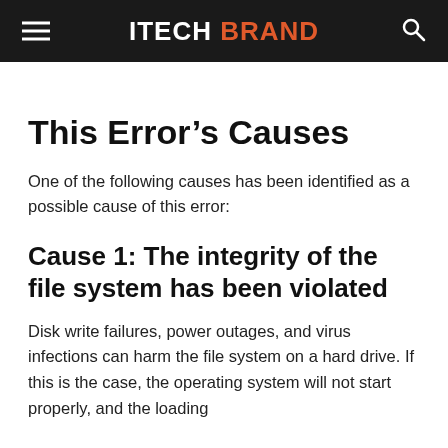ITECH BRAND
This Error's Causes
One of the following causes has been identified as a possible cause of this error:
Cause 1: The integrity of the file system has been violated
Disk write failures, power outages, and virus infections can harm the file system on a hard drive. If this is the case, the operating system will not start properly, and the loading